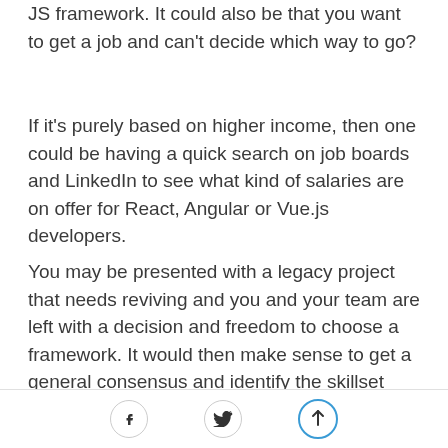JS framework. It could also be that you want to get a job and can't decide which way to go?
If it's purely based on higher income, then one could be having a quick search on job boards and LinkedIn to see what kind of salaries are on offer for React, Angular or Vue.js developers.
You may be presented with a legacy project that needs reviving and you and your team are left with a decision and freedom to choose a framework. It would then make sense to get a general consensus and identify the skillset among the team.
Whatever it is, identify the why first.
[Facebook icon] [Twitter icon] [Scroll-to-top icon]